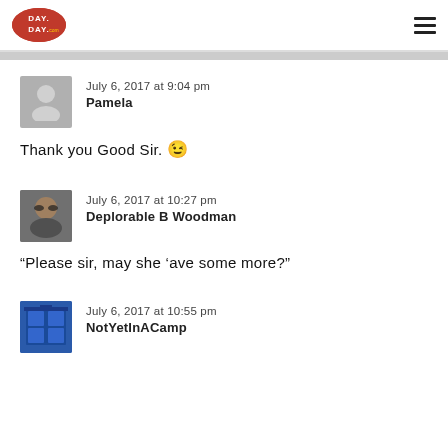DAY DAY (logo and hamburger menu)
July 6, 2017 at 9:04 pm
Pamela
Thank you Good Sir. 😉
July 6, 2017 at 10:27 pm
Deplorable B Woodman
“Please sir, may she ‘ave some more?”
July 6, 2017 at 10:55 pm
NotYetInACamp